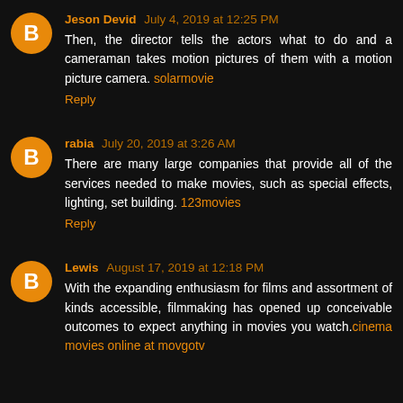Jeson Devid July 4, 2019 at 12:25 PM
Then, the director tells the actors what to do and a cameraman takes motion pictures of them with a motion picture camera. solarmovie
Reply
rabia July 20, 2019 at 3:26 AM
There are many large companies that provide all of the services needed to make movies, such as special effects, lighting, set building. 123movies
Reply
Lewis August 17, 2019 at 12:18 PM
With the expanding enthusiasm for films and assortment of kinds accessible, filmmaking has opened up conceivable outcomes to expect anything in movies you watch.cinema movies online at movgotv